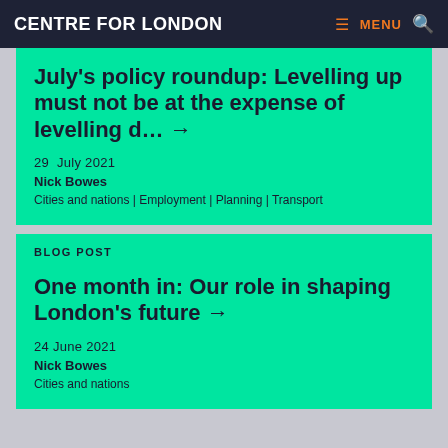CENTRE FOR LONDON
July’s policy roundup: Levelling up must not be at the expense of levelling d... →
29 July 2021
Nick Bowes
Cities and nations | Employment | Planning | Transport
BLOG POST
One month in: Our role in shaping London’s future →
24 June 2021
Nick Bowes
Cities and nations
BLOG POST